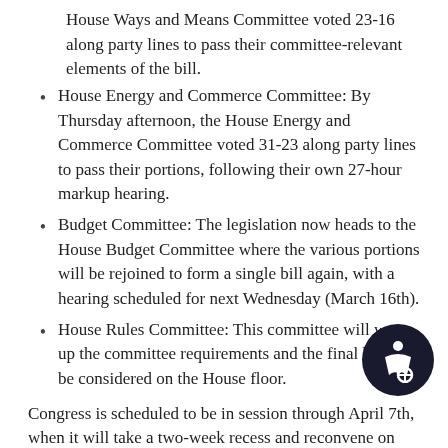House Ways and Means Committee voted 23-16 along party lines to pass their committee-relevant elements of the bill.
House Energy and Commerce Committee: By Thursday afternoon, the House Energy and Commerce Committee voted 31-23 along party lines to pass their portions, following their own 27-hour markup hearing.
Budget Committee: The legislation now heads to the House Budget Committee where the various portions will be rejoined to form a single bill again, with a hearing scheduled for next Wednesday (March 16th).
House Rules Committee: This committee will wrap up the committee requirements and the final bill can be considered on the House floor.
Congress is scheduled to be in session through April 7th, when it will take a two-week recess and reconvene on April 24th, largely remain in session until the August recess. The formal timetable for the reconciliation legislation currently has it considered on the House floor at the end of this month. If passed, the Senate would need to take up the process through